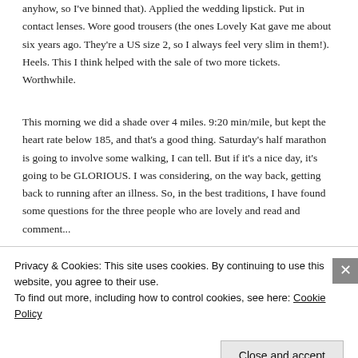anyhow, so I've binned that). Applied the wedding lipstick. Put in contact lenses. Wore good trousers (the ones Lovely Kat gave me about six years ago. They're a US size 2, so I always feel very slim in them!). Heels. This I think helped with the sale of two more tickets. Worthwhile.
This morning we did a shade over 4 miles. 9:20 min/mile, but kept the heart rate below 185, and that's a good thing. Saturday's half marathon is going to involve some walking, I can tell. But if it's a nice day, it's going to be GLORIOUS. I was considering, on the way back, getting back to running after an illness. So, in the best traditions, I have found some questions for the three people who are lovely and read and comment...
Privacy & Cookies: This site uses cookies. By continuing to use this website, you agree to their use.
To find out more, including how to control cookies, see here: Cookie Policy